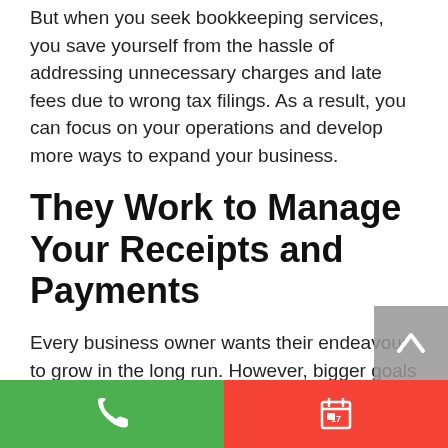But when you seek bookkeeping services, you save yourself from the hassle of addressing unnecessary charges and late fees due to wrong tax filings. As a result, you can focus on your operations and develop more ways to expand your business.
They Work to Manage Your Receipts and Payments
Every business owner wants their endeavour to grow in the long run. However, bigger goals mean more paperwork to deal with and taxes
[Figure (other): Bottom navigation bar with green phone button on left and red calendar button on right, plus a grey scroll-to-top arrow button overlaying content]